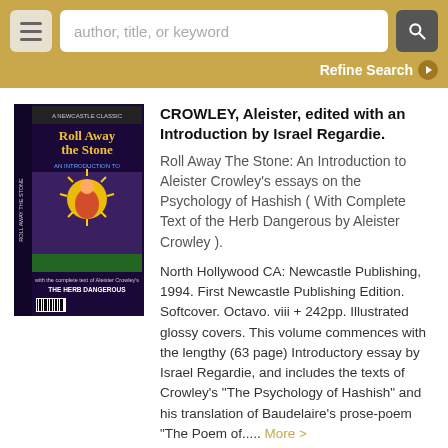[Figure (screenshot): Search bar UI with hamburger menu button, text input placeholder 'author, title, or keyword', and search icon button on a gold/tan background.]
Refine Search
[Figure (photo): Book cover of 'Roll Away the Stone: An Introduction to Aleister Crowley's Essays on the Psychology of Hashish' by Israel Regardie. Colorful psychedelic illustration on dark background.]
CROWLEY, Aleister, edited with an Introduction by Israel Regardie. Roll Away The Stone: An Introduction to Aleister Crowley's essays on the Psychology of Hashish ( With Complete Text of the Herb Dangerous by Aleister Crowley ). North Hollywood CA: Newcastle Publishing, 1994. First Newcastle Publishing Edition. Softcover. Octavo. viii + 242pp. Illustrated glossy covers. This volume commences with the lengthy (63 page) Introductory essay by Israel Regardie, and includes the texts of Crowley's "The Psychology of Hashish" and his translation of Baudelaire's prose-poem "The Poem of..... More >